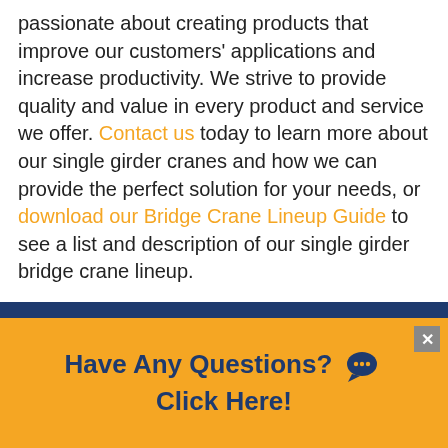passionate about creating products that improve our customers' applications and increase productivity. We strive to provide quality and value in every product and service we offer. Contact us today to learn more about our single girder cranes and how we can provide the perfect solution for your needs, or download our Bridge Crane Lineup Guide to see a list and description of our single girder bridge crane lineup.
[Figure (other): Dark blue horizontal banner bar above the orange call-to-action section]
Have Any Questions? 💬 Click Here!